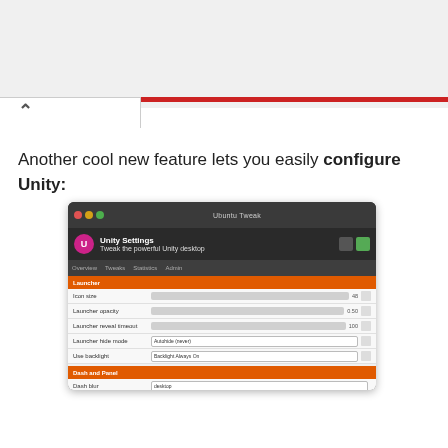Another cool new feature lets you easily configure Unity:
[Figure (screenshot): Screenshot of Unity Settings application window showing configuration options for Launcher and Dash and Panel sections, with various sliders and dropdowns for settings like icon size, opacity, hide mode, and blur settings. The window has a dark title bar with traffic light buttons and Ubuntu-style tab navigation.]